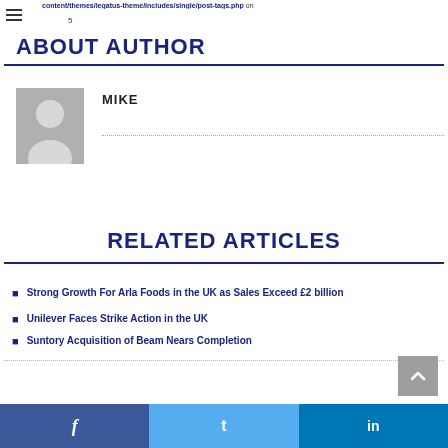content/themes/legatus-theme/includes/single/post-tags.php on
ABOUT AUTHOR
[Figure (illustration): Grey placeholder avatar silhouette image]
MIKE
RELATED ARTICLES
Strong Growth For Arla Foods in the UK as Sales Exceed £2 billion
Unilever Faces Strike Action in the UK
Suntory Acquisition of Beam Nears Completion
f  t  in